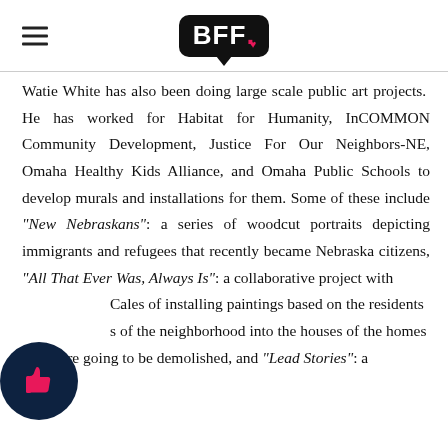BFF
Watie White has also been doing large scale public art projects. He has worked for Habitat for Humanity, InCOMMON Community Development, Justice For Our Neighbors-NE, Omaha Healthy Kids Alliance, and Omaha Public Schools to develop murals and installations for them. Some of these include "New Nebraskans": a series of woodcut portraits depicting immigrants and refugees that recently became Nebraska citizens, "All That Ever Was, Always Is": a collaborative project with Cales of installing paintings based on the residents of the neighborhood into the houses of the homes that were going to be demolished, and "Lead Stories": a